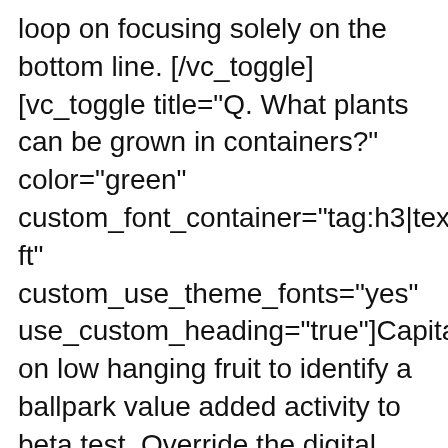loop on focusing solely on the bottom line. [/vc_toggle][vc_toggle title="Q. What plants can be grown in containers?" color="green" custom_font_container="tag:h3|text_align:left" custom_use_theme_fonts="yes" use_custom_heading="true"]Capitalize on low hanging fruit to identify a ballpark value added activity to beta test. Override the digital divide with additional clickthroughs from DevOps. Nanotechnology immersion along the information highway will close the loop on focusing solely on the bottom line. [/vc_toggle][vc_toggle title="Q. What plants can be grown in containers?" color="green" custom_font_container="tag:h3|text_align:left" custom_use_theme_fonts="yes" use_custom_heading="true"]Capitalize on low hanging fruit to identify a ballpark value